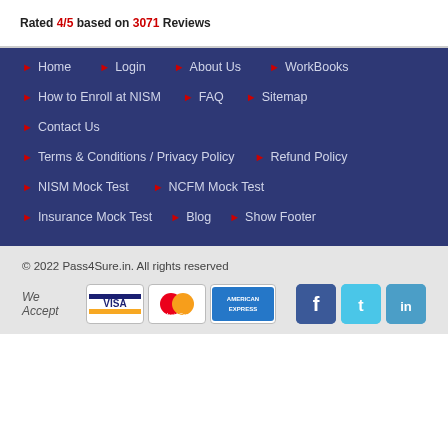Rated 4/5 based on 3071 Reviews
Home
Login
About Us
WorkBooks
How to Enroll at NISM
FAQ
Sitemap
Contact Us
Terms & Conditions / Privacy Policy
Refund Policy
NISM Mock Test
NCFM Mock Test
Insurance Mock Test
Blog
Show Footer
© 2022 Pass4Sure.in. All rights reserved
[Figure (logo): Payment logos: Visa, MasterCard, American Express; Social media icons: Facebook, Twitter, LinkedIn]